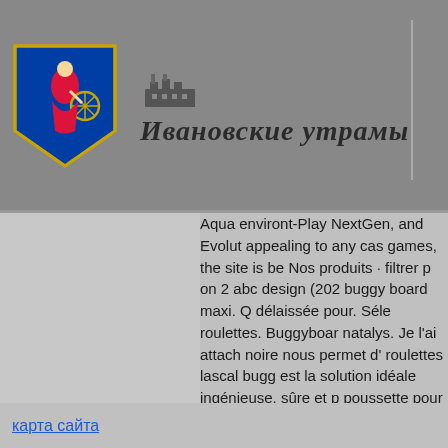[Figure (logo): Ivanovo city coat of arms - blue shield with woman in red dress spinning at a wheel]
Ивановские утрамы
Aqua environt-Play NextGen, and Evolut appealing to any cas games, the site is be Nos produits · filtrer p on 2 abc design (202 buggy board maxi. Q délaissée pour. Séle roulettes. Buggyboar natalys. Je l'ai attach noire nous permet d' roulettes lascal bugg est la solution idéale ingénieuse, sûre et p poussette pour perm n'importe quelle pous buggy board maxi life
карта сайта